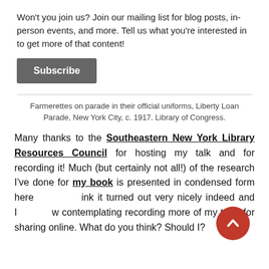Won't you join us? Join our mailing list for blog posts, in-person events, and more. Tell us what you're interested in to get more of that content!
Subscribe
Farmerettes on parade in their official uniforms, Liberty Loan Parade, New York City, c. 1917. Library of Congress.
Many thanks to the Southeastern New York Library Resources Council for hosting my talk and for recording it! Much (but certainly not all!) of the research I've done for my book is presented in condensed form here I think it turned out very nicely indeed and I am now contemplating recording more of my talks for sharing online. What do you think? Should I?